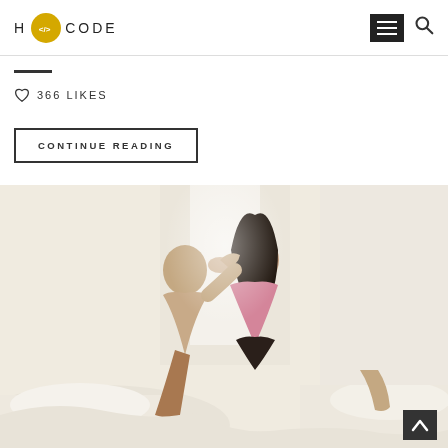H CODE
366 LIKES
CONTINUE READING
[Figure (photo): A couple kissing on a bed. A shirtless man with hair in a bun and a woman in a pink and black lingerie embrace and kiss while sitting on white bedding near a bright window.]